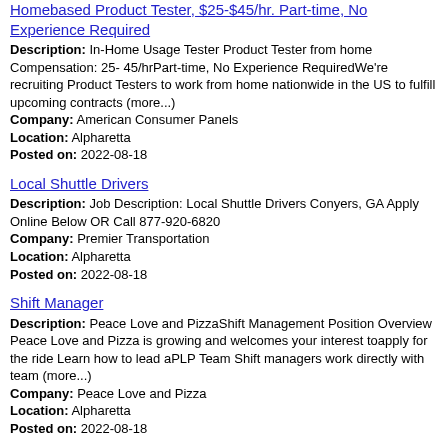Homebased Product Tester, $25-$45/hr. Part-time, No Experience Required
Description: In-Home Usage Tester Product Tester from home Compensation: 25- 45/hrPart-time, No Experience RequiredWe're recruiting Product Testers to work from home nationwide in the US to fulfill upcoming contracts (more...) Company: American Consumer Panels Location: Alpharetta Posted on: 2022-08-18
Local Shuttle Drivers
Description: Job Description: Local Shuttle Drivers Conyers, GA Apply Online Below OR Call 877-920-6820 Company: Premier Transportation Location: Alpharetta Posted on: 2022-08-18
Shift Manager
Description: Peace Love and PizzaShift Management Position Overview Peace Love and Pizza is growing and welcomes your interest toapply for the ride Learn how to lead aPLP Team Shift managers work directly with team (more...) Company: Peace Love and Pizza Location: Alpharetta Posted on: 2022-08-18
Medical Laboratory Scientist OR MT OR MLT Opening in Georgia